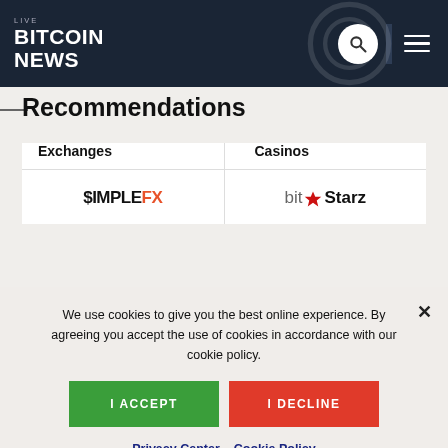LIVE BITCOIN NEWS
Recommendations
| Exchanges | Casinos |
| --- | --- |
| $IMPLEFX | bitStarz |
We use cookies to give you the best online experience. By agreeing you accept the use of cookies in accordance with our cookie policy.
I ACCEPT   I DECLINE
Privacy Center  Cookie Policy